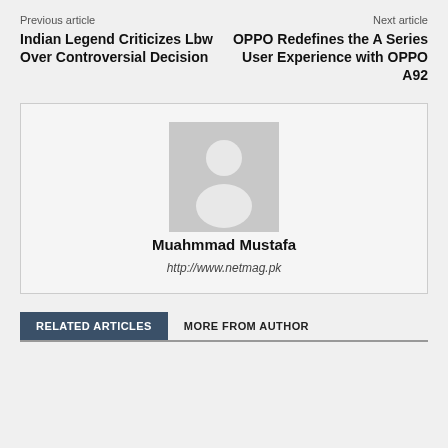Previous article
Next article
Indian Legend Criticizes Lbw Over Controversial Decision
OPPO Redefines the A Series User Experience with OPPO A92
[Figure (illustration): Author avatar placeholder: grey square with white silhouette of a person]
Muahmmad Mustafa
http://www.netmag.pk
RELATED ARTICLES
MORE FROM AUTHOR